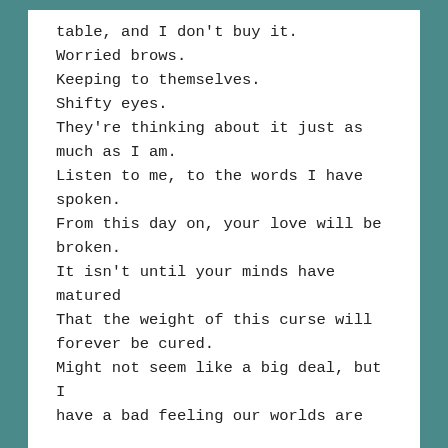table, and I don't buy it.
Worried brows.
Keeping to themselves.
Shifty eyes.
They're thinking about it just as much as I am.
Listen to me, to the words I have spoken.
From this day on, your love will be broken.
It isn't until your minds have matured
That the weight of this curse will forever be cured.
Might not seem like a big deal, but I have a bad feeling our worlds are